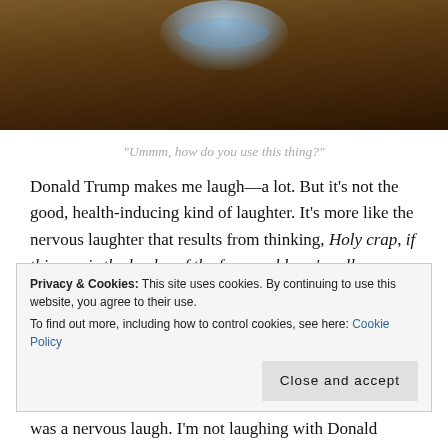[Figure (photo): Photo of a water bottle on a dark brown surface, partially cropped at top]
“Ummm, how do you use this thing?”
Donald Trump makes me laugh—a lot. But it’s not the good, health-inducing kind of laughter. It’s more like the nervous laughter that results from thinking, Holy crap, if this guy is the leader of the free world, we’re all doomed!  This week I laughed out loud when I watched him struggle with a water bottle at his press conference
Privacy & Cookies: This site uses cookies. By continuing to use this website, you agree to their use.
To find out more, including how to control cookies, see here: Cookie Policy
was a nervous laugh. I’m not laughing with Donald Trump; I’m